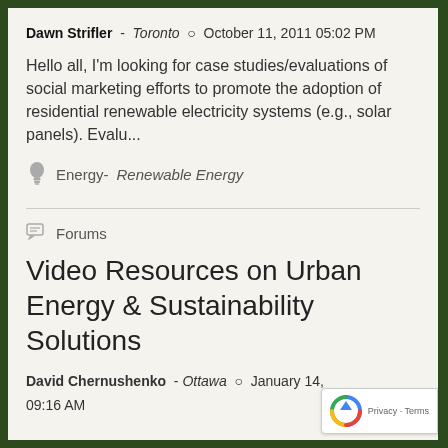Dawn Strifler - Toronto  o  October 11, 2011 05:02 PM
Hello all, I'm looking for case studies/evaluations of social marketing efforts to promote the adoption of residential renewable electricity systems (e.g., solar panels). Evalu...
Energy- Renewable Energy
Forums
Video Resources on Urban Energy & Sustainability Solutions
David Chernushenko - Ottawa  o  January 14, 09:16 AM